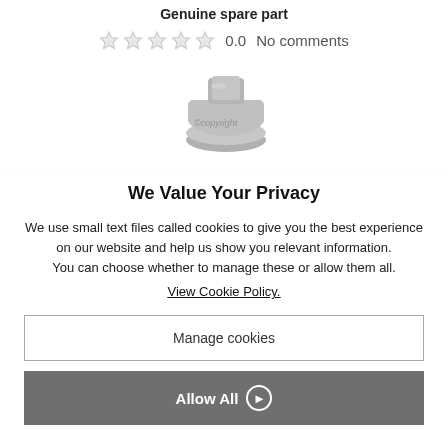Genuine spare part
0.0  No comments
[Figure (photo): Photo of a metallic knob/spare part with a 'copyright' watermark overlay]
We Value Your Privacy
We use small text files called cookies to give you the best experience on our website and help us show you relevant information.
You can choose whether to manage these or allow them all.
View Cookie Policy.
Manage cookies
Allow All